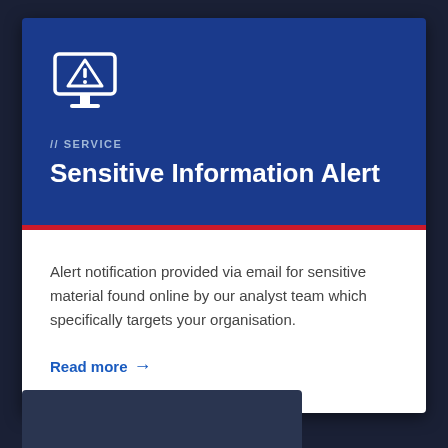[Figure (illustration): Monitor/screen icon with triangle warning symbol inside, white outline on dark blue background]
//SERVICE
Sensitive Information Alert
Alert notification provided via email for sensitive material found online by our analyst team which specifically targets your organisation.
Read more →